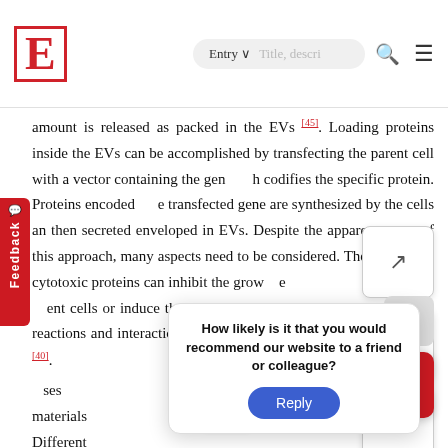E [logo] Entry ∨ Title, descri... [search] ≡
amount is released as packed in the EVs [45]. Loading proteins inside the EVs can be accomplished by transfecting the parent cell with a vector containing the gene that codifies the specific protein. Proteins encoded by the transfected gene are synthesized by the cells and then secreted enveloped in EVs. Despite the apparent simplicity of this approach, many aspects need to be considered. The expression of cytotoxic proteins can inhibit the growth of the parent cells or induce their apoptosis. Furthermore, immunological reactions and interactions can obstaculate the reduction of EVs ability [40]. uses genetic materials p. Different st used is lentivirus d safety.
[Figure (screenshot): Survey popup asking 'How likely is it that you would recommend our website to a friend or colleague?' with a Reply button]